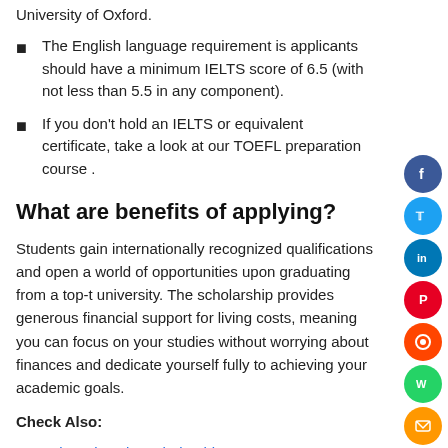University of Oxford.
The English language requirement is applicants should have a minimum IELTS score of 6.5 (with not less than 5.5 in any component).
If you don't hold an IELTS or equivalent certificate, take a look at our TOEFL preparation course .
What are benefits of applying?
Students gain internationally recognized qualifications and open a world of opportunities upon graduating from a top-t university. The scholarship provides generous financial support for living costs, meaning you can focus on your studies without worrying about finances and dedicate yourself fully to achieving your academic goals.
Check Also:
Yale University Scholarship 2022 In USA – Complete